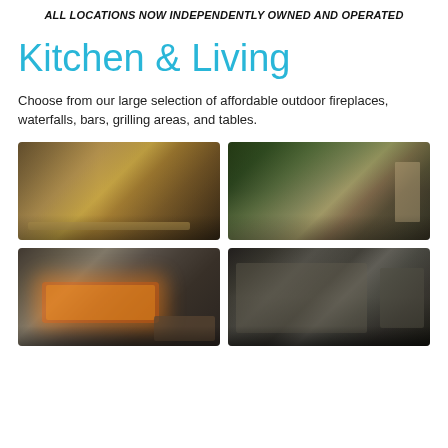ALL LOCATIONS NOW INDEPENDENTLY OWNED AND OPERATED
Kitchen & Living
Choose from our large selection of affordable outdoor fireplaces, waterfalls, bars, grilling areas, and tables.
[Figure (photo): Outdoor kitchen counter/bar area with stone construction and lighting]
[Figure (photo): Outdoor patio with stone bar, seating, and pergola at dusk]
[Figure (photo): Outdoor stone fireplace with burning fire and firewood storage]
[Figure (photo): Outdoor kitchen with grill and stone cabinetry at night]